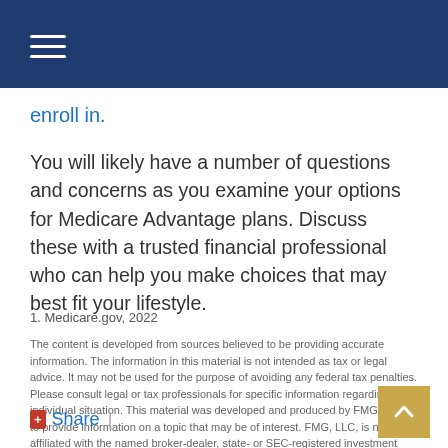enroll in.
You will likely have a number of questions and concerns as you examine your options for Medicare Advantage plans. Discuss these with a trusted financial professional who can help you make choices that may best fit your lifestyle.
1. Medicare.gov, 2022
The content is developed from sources believed to be providing accurate information. The information in this material is not intended as tax or legal advice. It may not be used for the purpose of avoiding any federal tax penalties. Please consult legal or tax professionals for specific information regarding your individual situation. This material was developed and produced by FMG Suite to provide information on a topic that may be of interest. FMG, LLC, is not affiliated with the named broker-dealer, state- or SEC-registered investment advisory firm. The opinions expressed and material provided are for general information, and should not be considered a solicitation for the purchase or sale of any security. Copyright 2022 FMG Suite.
Share |